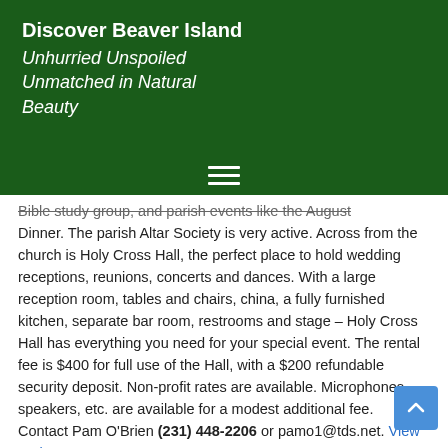Discover Beaver Island
Unhurried Unspoiled Unmatched in Natural Beauty
Bible study group, and parish events like the August Dinner. The parish Altar Society is very active. Across from the church is Holy Cross Hall, the perfect place to hold wedding receptions, reunions, concerts and dances. With a large reception room, tables and chairs, china, a fully furnished kitchen, separate bar room, restrooms and stage – Holy Cross Hall has everything you need for your special event. The rental fee is $400 for full use of the Hall, with a $200 refundable security deposit. Non-profit rates are available. Microphones, speakers, etc. are available for a modest additional fee.  Contact Pam O'Brien (231) 448-2206 or pamo1@tds.net. View Web Page